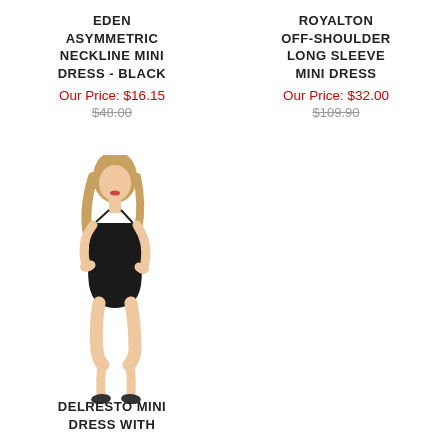EDEN ASYMMETRIC NECKLINE MINI DRESS - BLACK
Our Price: $16.15
$48.00
ROYALTON OFF-SHOULDER LONG SLEEVE MINI DRESS
Our Price: $32.00
$109.90
[Figure (photo): Model wearing a black mini dress with spaghetti straps, standing in a pose showing the full outfit.]
DELRESTO MINI DRESS WITH